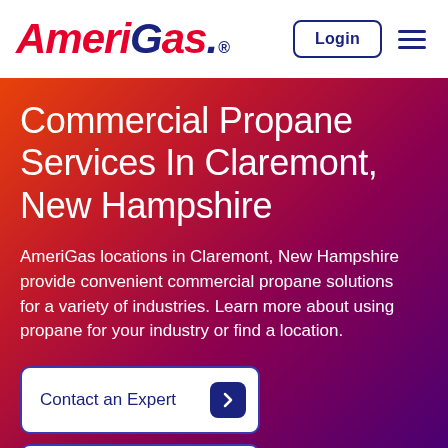AmeriGas® Login [hamburger menu]
Commercial Propane Services In Claremont, New Hampshire
AmeriGas locations in Claremont, New Hampshire provide convenient commercial propane solutions for a variety of industries. Learn more about using propane for your industry or find a location.
Contact an Expert
Existing Customers